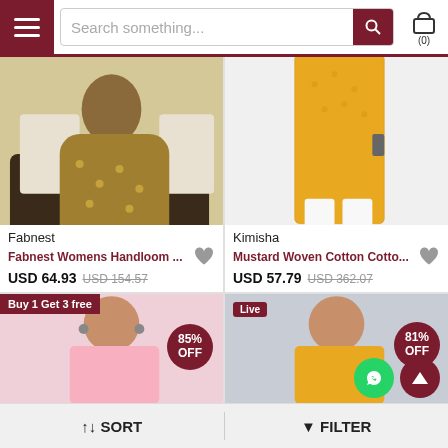[Figure (screenshot): E-commerce app header with hamburger menu, search bar, and cart icon showing (0)]
[Figure (photo): Woman sitting on dark sofa wearing olive green handloom kaftan dress - Fabnest product]
Fabnest
Fabnest Womens Handloom ...
USD 64.93  USD 154.57
[Figure (photo): Woman in mustard yellow cotton kurti with white leggings - Kimisha product]
Kimisha
Mustard Woven Cotton Cotto...
USD 57.79  USD 362.07
[Figure (photo): Woman in pink dress with Buy 1 Get 3 free banner and 85% OFF badge]
[Figure (photo): Woman in yellow outfit with Live badge, whatsapp button, scroll up button and 81% OFF badge]
↑↓ SORT
▼ FILTER